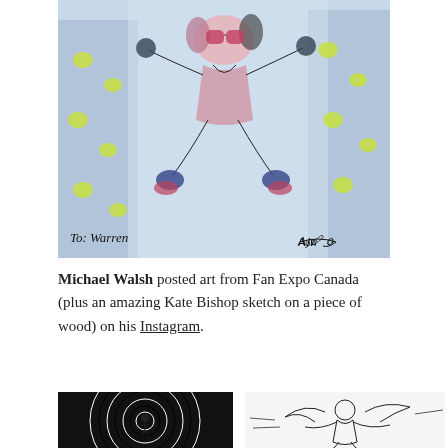[Figure (illustration): A colorful watercolor/ink sketch of a cartoon character (appears to be Snoopy or similar) leaping in the air against a blue city background with yellow-green heart shapes. Signed 'To: Warren' on the lower left and signed by the artist on the lower right.]
Michael Walsh posted art from Fan Expo Canada (plus an amazing Kate Bishop sketch on a piece of wood) on his Instagram.
[Figure (illustration): Black and white concentric circle pattern with a small figure in the center, similar to hypnotic spiral art.]
[Figure (illustration): Black and white sketch of a superhero or character in action pose with dynamic lines.]